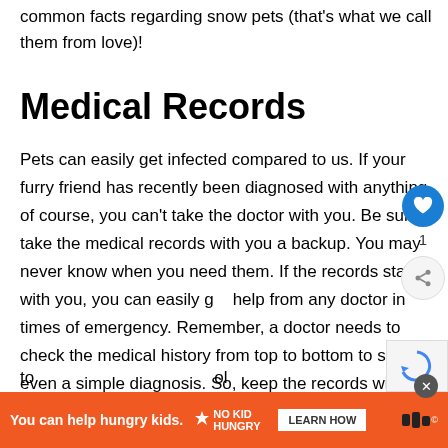common facts regarding snow pets (that's what we call them from love)!
Medical Records
Pets can easily get infected compared to us. If your furry friend has recently been diagnosed with anything, of course, you can't take the doctor with you. Be sure to take the medical records with you a backup. You may never know when you need them. If the records stay with you, you can easily get help from any doctor in times of emergency. Remember, a doctor needs to check the medical history from top to bottom to suggest even a simple diagnosis. So, keep the records with you and b... to... ol